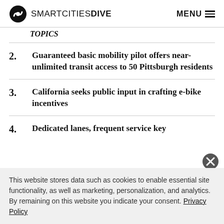SMARTCITIES DIVE  MENU
TOPICS (truncated/partial)
2. Guaranteed basic mobility pilot offers near-unlimited transit access to 50 Pittsburgh residents
3. California seeks public input in crafting e-bike incentives
4. Dedicated lanes, frequent service key
This website stores data such as cookies to enable essential site functionality, as well as marketing, personalization, and analytics. By remaining on this website you indicate your consent. Privacy Policy